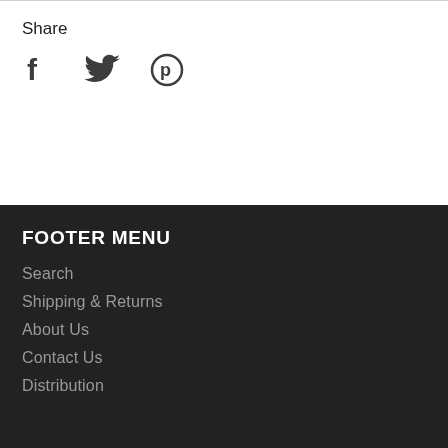Share
[Figure (illustration): Social share icons: Facebook (f), Twitter (bird), Pinterest (p circle)]
FOOTER MENU
Search
Shipping & Returns
About Us
Contact Us
Distribution